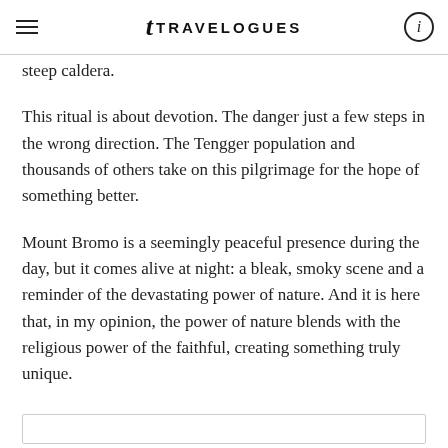TRAVELOGUES
steep caldera.
This ritual is about devotion. The danger just a few steps in the wrong direction. The Tengger population and thousands of others take on this pilgrimage for the hope of something better.
Mount Bromo is a seemingly peaceful presence during the day, but it comes alive at night: a bleak, smoky scene and a reminder of the devastating power of nature. And it is here that, in my opinion, the power of nature blends with the religious power of the faithful, creating something truly unique.